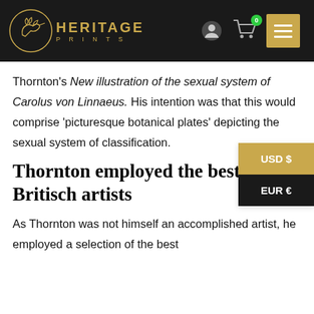[Figure (logo): Heritage Prints logo: golden hummingbird in a circle, with text HERITAGE PRINTS in gold letters, navigation icons (user, cart with 0 badge), and golden hamburger menu button on dark background]
Thornton's New illustration of the sexual system of Carolus von Linnaeus. His intention was that this would comprise ‘picturesque botanical plates’ depicting the sexual system of classification.
Thornton employed the best Britisch artists
As Thornton was not himself an accomplished artist, he employed a selection of the best